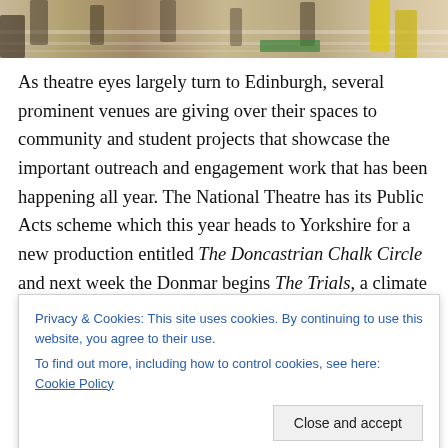[Figure (photo): Cropped bottom portion of a photo showing people on a striped floor/outdoor space, one person in yellow clothing]
As theatre eyes largely turn to Edinburgh, several prominent venues are giving over their spaces to community and student projects that showcase the important outreach and engagement work that has been happening all year. The National Theatre has its Public Acts scheme which this year heads to Yorkshire for a new production entitled The Doncastrian Chalk Circle and next week the Donmar begins The Trials, a climate activism piece developed through its Local and Young Associates
Privacy & Cookies: This site uses cookies. By continuing to use this website, you agree to their use.
To find out more, including how to control cookies, see here: Cookie Policy
performance dedicated to the theatre's physical home on